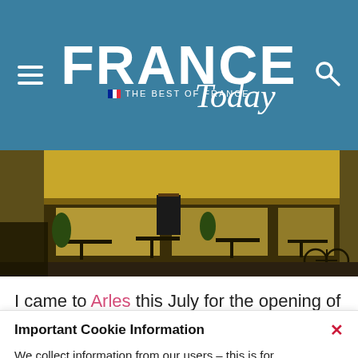FRANCE Today — THE BEST OF FRANCE
[Figure (photo): Outdoor restaurant scene at night with tables, diners, plants, and bicycles visible]
I came to Arles this July for the opening of Les
Important Cookie Information
We collect information from our users – this is for administration and contact purposes in connection with contributions you may wish to make to the site or your use of certain site features such as newsletter subscriptions and property enquiries.